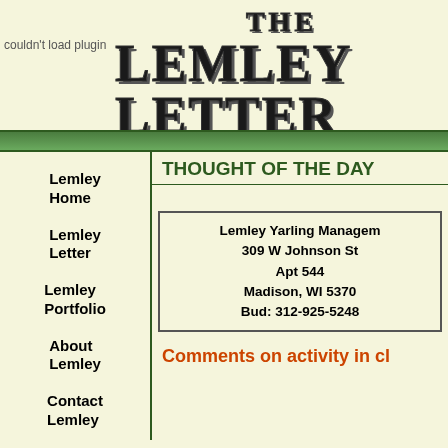THE LEMLEY LETTER
couldn't load plugin
THOUGHT OF THE DAY
Lemley Yarling Management
309 W Johnson St
Apt 544
Madison, WI 5370
Bud: 312-925-5248
Comments on activity in cl
Lemley Home
Lemley Letter
Lemley Portfolio
About Lemley
Contact Lemley
25 March 2022